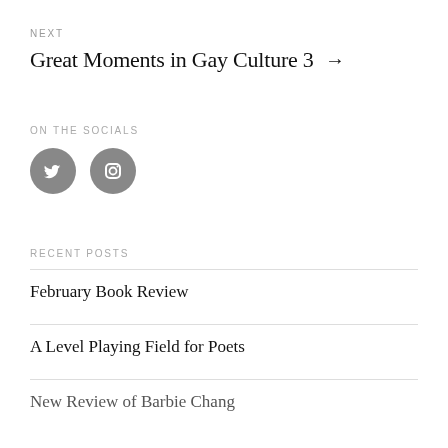NEXT
Great Moments in Gay Culture 3 →
ON THE SOCIALS
[Figure (illustration): Two circular social media icons: Twitter bird icon and Instagram camera icon, both in dark gray circles.]
RECENT POSTS
February Book Review
A Level Playing Field for Poets
New Review of Barbie Chang